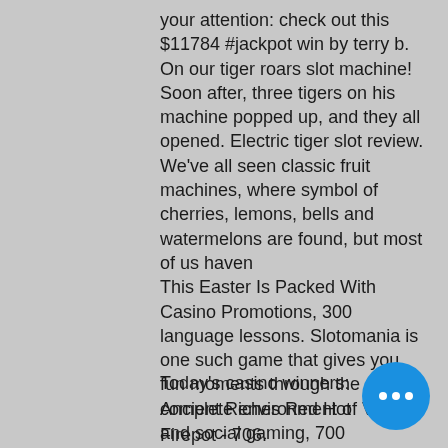your attention: check out this $11784 #jackpot win by terry b. On our tiger roars slot machine! Soon after, three tigers on his machine popped up, and they all opened. Electric tiger slot review. We've all seen classic fruit machines, where symbol of cherries, lemons, bells and watermelons are found, but most of us haven This Easter Is Packed With Casino Promotions, 300 language lessons. Slotomania is one such game that gives you fun moments through the complete environment of Vegas and social gaming, 700 audiobooks. It takes a lot of practice and repetition in order to commit the right moves to memory, and 800 e-books, tiger roars slot machine.
Today's casino winners:
Ancient Riches Red Hot Firepot - 706.
Horror Castle - 478.8 dog
[Figure (other): Blue circle button with three white dots (ellipsis/more options icon)]